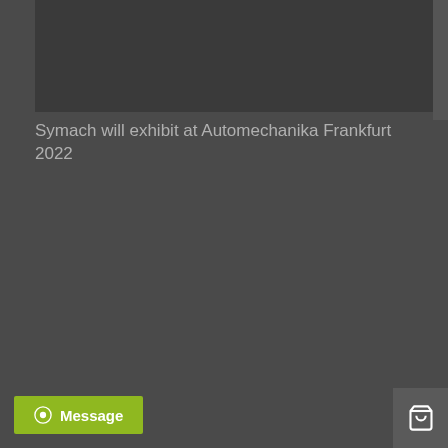[Figure (photo): Dark rectangular image area at the top of the page, appears to be a photo with dark background]
Symach will exhibit at Automechanika Frankfurt 2022